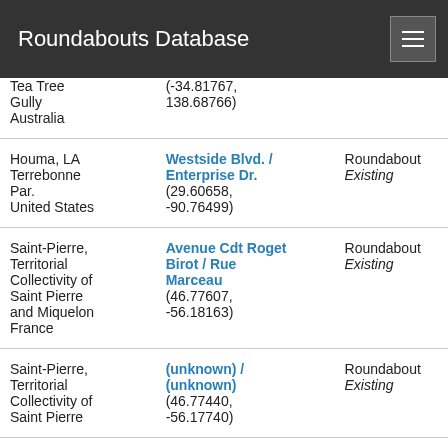Roundabouts Database
| Location | Intersection | Type | Control |
| --- | --- | --- | --- |
| Tea Tree Gully Australia | (-34.81767, 138.68766) | Roundabout Existing | All-Way None |
| Houma, LA Terrebonne Par. United States | Westside Blvd. / Enterprise Dr. (29.60658, -90.76499) | Roundabout Existing | All-Way None |
| Saint-Pierre, Territorial Collectivity of Saint Pierre and Miquelon France | Avenue Cdt Roget Birot / Rue Marceau (46.77607, -56.18163) | Roundabout Existing | All-Way None |
| Saint-Pierre, Territorial Collectivity of Saint Pierre | (unknown) / (unknown) (46.77440, -56.17740) | Roundabout Existing | All-Way None |